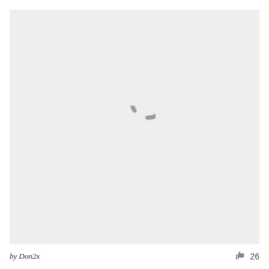[Figure (illustration): A loading spinner icon — a partial circle arc (approximately 300 degrees) rendered in medium gray (#999999) on a light beige/off-white background (#f0eeed), centered in the image area.]
by Don2x
[Figure (illustration): A thumbs-up icon in gray]
26